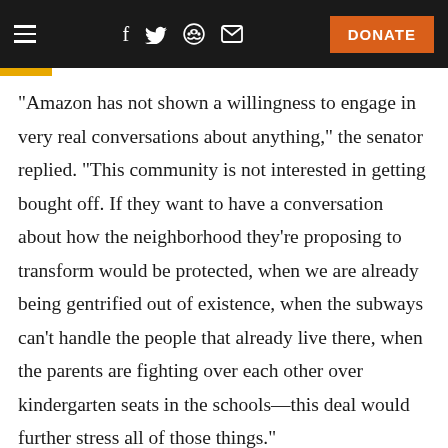Navigation bar with hamburger menu, social icons (Facebook, Twitter, Reddit, Email), and DONATE button
"Amazon has not shown a willingness to engage in very real conversations about anything," the senator replied. "This community is not interested in getting bought off. If they want to have a conversation about how the neighborhood they're proposing to transform would be protected, when we are already being gentrified out of existence, when the subways can't handle the people that already live there, when the parents are fighting over each other over kindergarten seats in the schools—this deal would further stress all of those things."